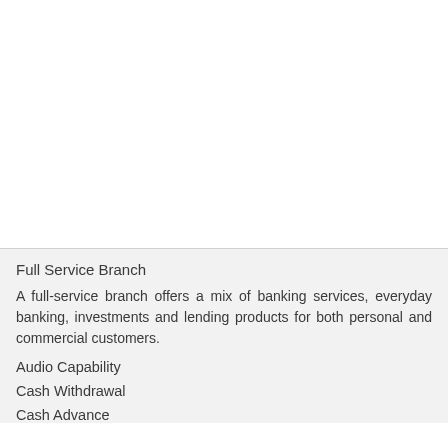Full Service Branch
A full-service branch offers a mix of banking services, everyday banking, investments and lending products for both personal and commercial customers.
Audio Capability
Cash Withdrawal
Cash Advance